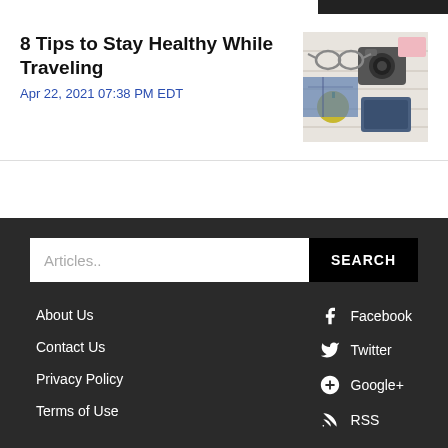8 Tips to Stay Healthy While Traveling
Apr 22, 2021 07:38 PM EDT
[Figure (photo): Travel flat lay photo with camera, glasses, notebook, apple on white wooden surface]
« Prev  7  Next »
Articles..  SEARCH
About Us
Contact Us
Privacy Policy
Terms of Use
Facebook
Twitter
Google+
RSS